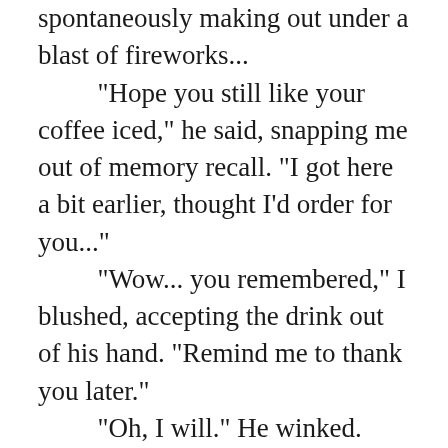spontaneously making out under a blast of fireworks...
“Hope you still like your coffee iced,” he said, snapping me out of memory recall. "I got here a bit earlier, thought I’d order for you..."
“Wow... you remembered,” I blushed, accepting the drink out of his hand. “Remind me to thank you later.”
“Oh, I will.” He winked.
Message received.
We sat at Starbucks catching up on lost time for about an hour until we could no longer ignore ignore the sexual tension lingering between us...

Before we knew it we were at his